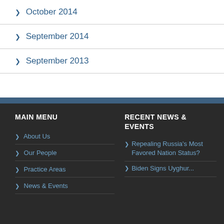> October 2014
> September 2014
> September 2013
MAIN MENU
RECENT NEWS & EVENTS
> About Us
> Our People
> Practice Areas
> News & Events
> Repealing Russia's Most Favored Nation Status?
> Biden Signs Uyghur...